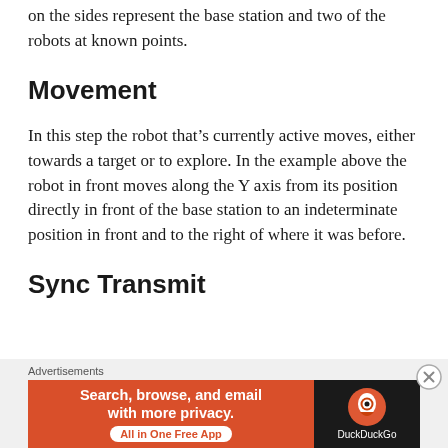on the sides represent the base station and two of the robots at known points.
Movement
In this step the robot that’s currently active moves, either towards a target or to explore. In the example above the robot in front moves along the Y axis from its position directly in front of the base station to an indeterminate position in front and to the right of where it was before.
Sync Transmit
[Figure (other): DuckDuckGo advertisement banner: orange left panel with text 'Search, browse, and email with more privacy. All in One Free App' and dark right panel with DuckDuckGo logo and name.]